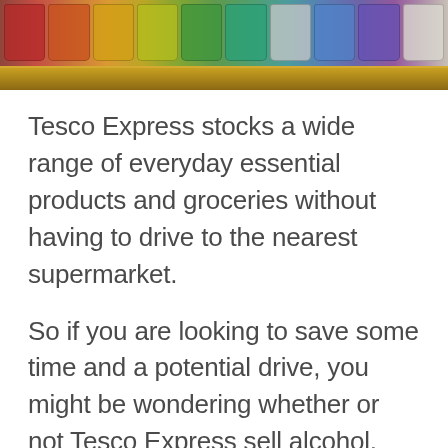[Figure (photo): Photo of colorful jars/bottles on a wooden shelf, showing various colors including red, orange, green, and other colors of preserved goods or spices]
Tesco Express stocks a wide range of everyday essential products and groceries without having to drive to the nearest supermarket.
So if you are looking to save some time and a potential drive, you might be wondering whether or not Tesco Express sell alcohol. Here is what I discovered!